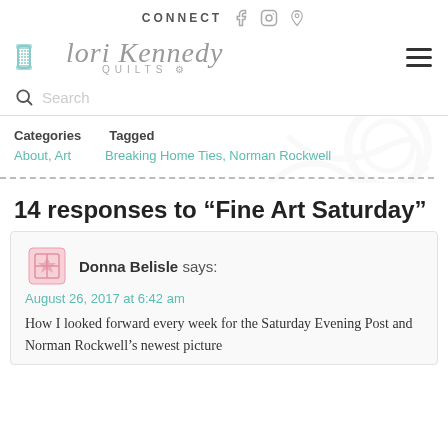CONNECT
[Figure (logo): Lori Kennedy Quilts logo with thread spool icon and cursive text]
Search
Categories   About, Art   Tagged   Breaking Home Ties, Norman Rockwell
14 responses to “Fine Art Saturday”
Donna Belisle says: August 26, 2017 at 6:42 am

How I looked forward every week for the Saturday Evening Post and Norman Rockwell’s newest picture